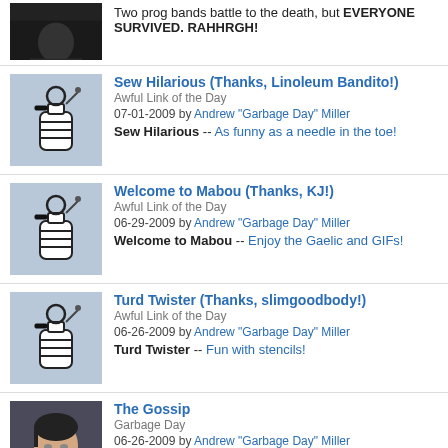[Figure (photo): Dark photo thumbnail of a person]
Two prog bands battle to the death, but EVERYONE SURVIVED. RAHHRGH!
[Figure (illustration): Grenade illustration on blue-grey background]
Sew Hilarious (Thanks, Linoleum Bandito!)
Awful Link of the Day
07-01-2009 by Andrew "Garbage Day" Miller
Sew Hilarious -- As funny as a needle in the toe!
[Figure (illustration): Grenade illustration on blue-grey background]
Welcome to Mabou (Thanks, KJ!)
Awful Link of the Day
06-29-2009 by Andrew "Garbage Day" Miller
Welcome to Mabou -- Enjoy the Gaelic and GIFs!
[Figure (illustration): Grenade illustration on blue-grey background]
Turd Twister (Thanks, slimgoodbody!)
Awful Link of the Day
06-26-2009 by Andrew "Garbage Day" Miller
Turd Twister -- Fun with stencils!
[Figure (photo): Photo of a young woman in blue top]
The Gossip
Garbage Day
06-26-2009 by Andrew "Garbage Day" Miller
Model-fronted hype band The Gossip tries to make boring music fashionable.
[Figure (photo): Partial photo thumbnail at bottom]
LCD Cinematic Action 2!